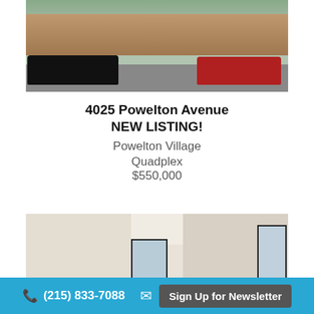[Figure (photo): Exterior street view of 4025 Powelton Avenue showing brick row homes and two cars (black and red) parked on the street]
4025 Powelton Avenue
NEW LISTING!
Powelton Village
Quadplex
$550,000
[Figure (photo): Interior photo showing light-colored walls, ceiling, and large windows with dark frames and plants on a shelf]
(215) 833-7088   Sign Up for Newsletter